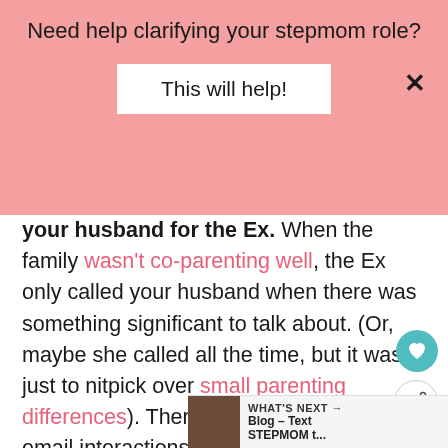Need help clarifying your stepmom role?
This will help!
your husband for the Ex. When the family wasn't co-parenting well, the Ex only called your husband when there was something significant to talk about. (Or, maybe she called all the time, but it was just to nitpick over small parenting differences). There were more formal email interactions, mor direct text messages. But now, once overcome so much and got to the point of highly-functioning, you suddenly may realize
WHAT'S NEXT → Blog – Text STEPMOM t...